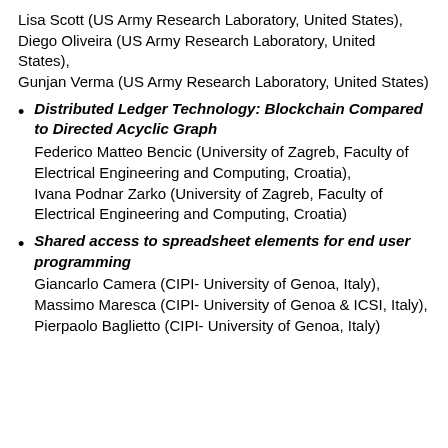Lisa Scott (US Army Research Laboratory, United States),
Diego Oliveira (US Army Research Laboratory, United States),
Gunjan Verma (US Army Research Laboratory, United States)
Distributed Ledger Technology: Blockchain Compared to Directed Acyclic Graph
Federico Matteo Bencic (University of Zagreb, Faculty of Electrical Engineering and Computing, Croatia),
Ivana Podnar Zarko (University of Zagreb, Faculty of Electrical Engineering and Computing, Croatia)
Shared access to spreadsheet elements for end user programming
Giancarlo Camera (CIPI- University of Genoa, Italy),
Massimo Maresca (CIPI- University of Genoa & ICSI, Italy),
Pierpaolo Baglietto (CIPI- University of Genoa, Italy)